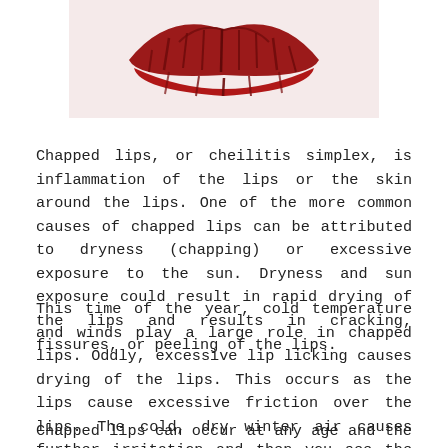[Figure (illustration): Close-up illustration or photo of chapped/cracked lips showing red, dried, and fissured lip surface against a light background.]
Chapped lips, or cheilitis simplex, is inflammation of the lips or the skin around the lips. One of the more common causes of chapped lips can be attributed to dryness (chapping) or excessive exposure to the sun. Dryness and sun exposure could result in rapid drying of the lips and results in cracking, fissures, or peeling of the lips.
This time of the year, cold temperature and winds play a large role in chapped lips. Oddly, excessive lip licking causes drying of the lips. This occurs as the lips cause excessive friction over the lips. The cold, dry winter air causes further irritation and then you see the typical red and irritated chapped lips.
Chapped lips can occur at any age and the best way to